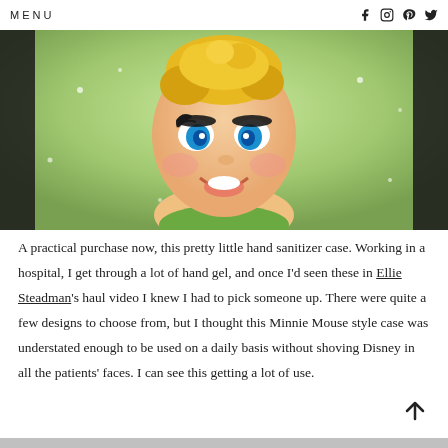MENU
[Figure (photo): Close-up photo of a Tinkerbell Disney hand sanitizer case showing the animated character's face with blue eyes, blonde hair, and green outfit against a light green sparkly background]
A practical purchase now, this pretty little hand sanitizer case. Working in a hospital, I get through a lot of hand gel, and once I'd seen these in Ellie Steadman's haul video I knew I had to pick someone up. There were quite a few designs to choose from, but I thought this Minnie Mouse style case was understated enough to be used on a daily basis without shoving Disney in all the patients' faces. I can see this getting a lot of use.